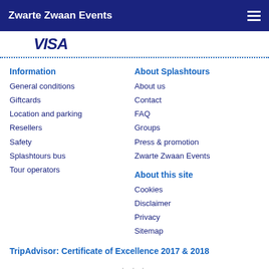Zwarte Zwaan Events
[Figure (logo): VISA logo in blue italic bold text]
Information
General conditions
Giftcards
Location and parking
Resellers
Safety
Splashtours bus
Tour operators
About Splashtours
About us
Contact
FAQ
Groups
Press & promotion
Zwarte Zwaan Events
About this site
Cookies
Disclaimer
Privacy
Sitemap
TripAdvisor: Certificate of Excellence 2017 & 2018
onderdeel van